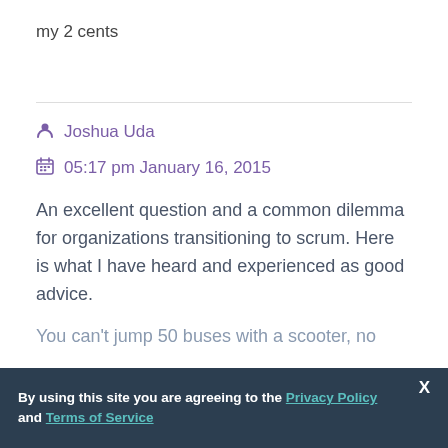my 2 cents
Joshua Uda
05:17 pm January 16, 2015
An excellent question and a common dilemma for organizations transitioning to scrum. Here is what I have heard and experienced as good advice.
You can't jump 50 buses with a scooter, no
By using this site you are agreeing to the Privacy Policy and Terms of Service